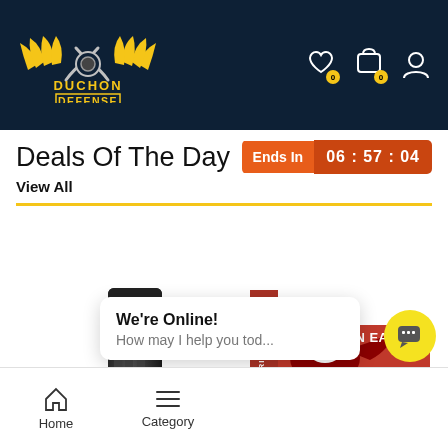[Figure (logo): Duchon Defense logo with eagle and crossed pistols in gold on dark navy background]
Deals Of The Day
Ends In   06 : 57 : 04
View All
[Figure (photo): Black firearm magazine standing upright]
[Figure (photo): American Eagle 50 Pistol Cartridges box, red and white packaging with eagle graphic]
We're Online!
How may I help you tod...
Home
Category